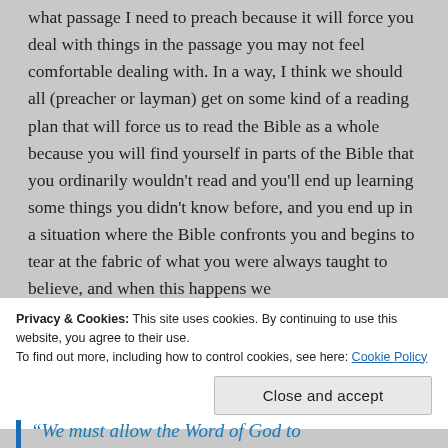what passage I need to preach because it will force you deal with things in the passage you may not feel comfortable dealing with. In a way, I think we should all (preacher or layman) get on some kind of a reading plan that will force us to read the Bible as a whole because you will find yourself in parts of the Bible that you ordinarily wouldn't read and you'll end up learning some things you didn't know before, and you end up in a situation where the Bible confronts you and begins to tear at the fabric of what you were always taught to believe, and when this happens we
Privacy & Cookies: This site uses cookies. By continuing to use this website, you agree to their use.
To find out more, including how to control cookies, see here: Cookie Policy
Close and accept
“We must allow the Word of God to